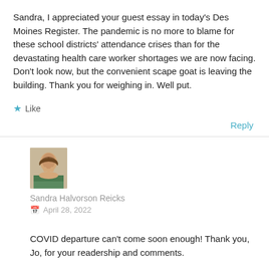Sandra, I appreciated your guest essay in today's Des Moines Register. The pandemic is no more to blame for these school districts' attendance crises than for the devastating health care worker shortages we are now facing. Don't look now, but the convenient scape goat is leaving the building. Thank you for weighing in. Well put.
★ Like
Reply
[Figure (photo): Avatar photo of Sandra Halvorson Reicks, a woman with shoulder-length hair]
Sandra Halvorson Reicks
April 28, 2022
COVID departure can't come soon enough! Thank you, Jo, for your readership and comments.